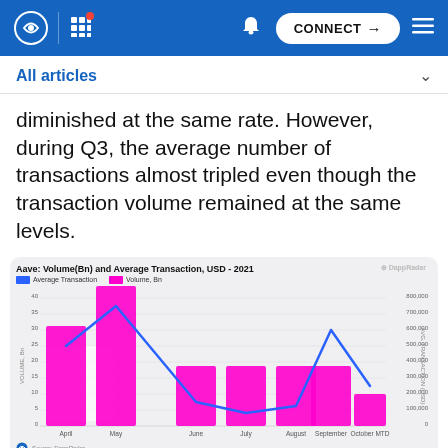CONNECT
All articles
diminished at the same rate. However, during Q3, the average number of transactions almost tripled even though the transaction volume remained at the same levels.
[Figure (grouped-bar-chart): Bar chart showing Aave volume in billions and average transaction in USD for 2021, from April to October MTD. Volume bars are magenta/pink, average transaction is shown as a blue line overlay.]
Source: DappRadar